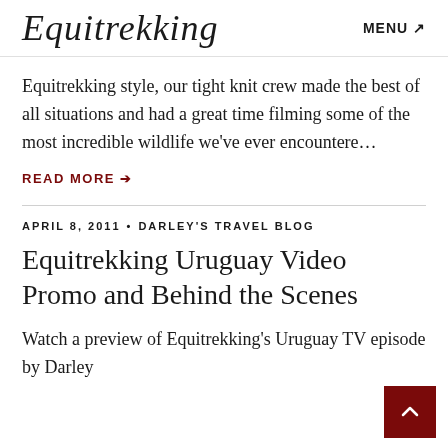Equitrekking  MENU
Equitrekking style, our tight knit crew made the best of all situations and had a great time filming some of the most incredible wildlife we've ever encountere…
READ MORE →
APRIL 8, 2011 • DARLEY'S TRAVEL BLOG
Equitrekking Uruguay Video Promo and Behind the Scenes
Watch a preview of Equitrekking's Uruguay TV episode by Darley